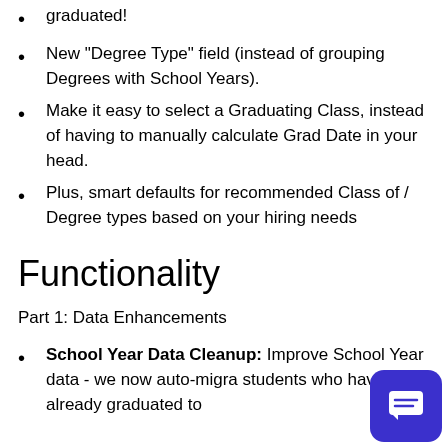graduated!
New "Degree Type" field (instead of grouping Degrees with School Years).
Make it easy to select a Graduating Class, instead of having to manually calculate Grad Date in your head.
Plus, smart defaults for recommended Class of / Degree types based on your hiring needs
Functionality
Part 1: Data Enhancements
School Year Data Cleanup: Improved School Year data - we now auto-migrate students who have already graduated to